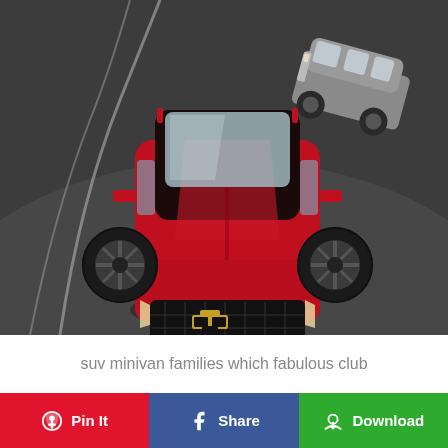[Figure (photo): Aerial/overhead view of a red Chevrolet Blazer SUV driving on a road, with a silver/gray minivan (Chrysler Pacifica) visible in the upper right background. Road surface is dark asphalt with white lane markings.]
suv minivan families which fabulous club
Pin It
Share
Download